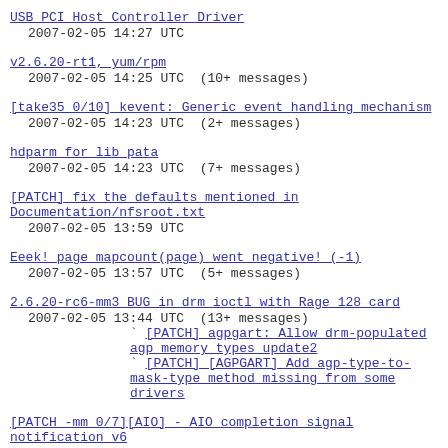USB PCI Host Controller Driver
2007-02-05 14:27 UTC
v2.6.20-rt1, yum/rpm
2007-02-05 14:25 UTC  (10+ messages)
[take35 0/10] kevent: Generic event handling mechanism
2007-02-05 14:23 UTC  (2+ messages)
hdparm for lib pata
2007-02-05 14:23 UTC  (7+ messages)
[PATCH] fix the defaults mentioned in Documentation/nfsroot.txt
2007-02-05 13:59 UTC
Eeek! page mapcount(page) went negative! (-1)
2007-02-05 13:57 UTC  (5+ messages)
2.6.20-rc6-mm3 BUG in drm ioctl with Rage 128 card
2007-02-05 13:44 UTC  (13+ messages)
  [PATCH] agpgart: Allow drm-populated agp memory types update2
  [PATCH] [AGPGART] Add agp-type-to-mask-type method missing from some drivers
[PATCH -mm 0/7][AIO] - AIO completion signal notification v6
2007-02-05 13:43 UTC  (6+ messages)